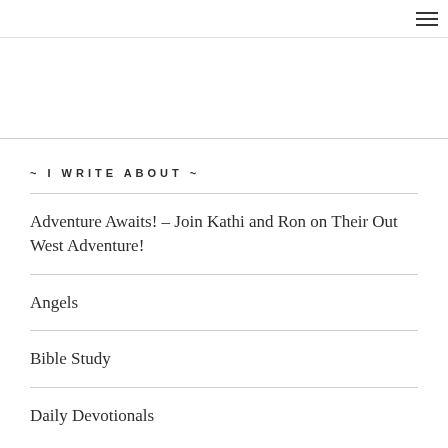~ I WRITE ABOUT ~
Adventure Awaits! – Join Kathi and Ron on Their Out West Adventure!
Angels
Bible Study
Daily Devotionals